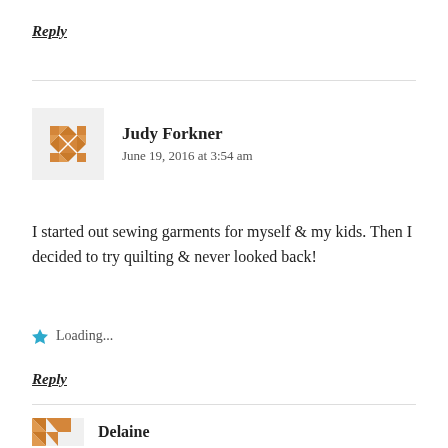Reply
Judy Forkner
June 19, 2016 at 3:54 am
I started out sewing garments for myself & my kids. Then I decided to try quilting & never looked back!
Loading...
Reply
Delaine